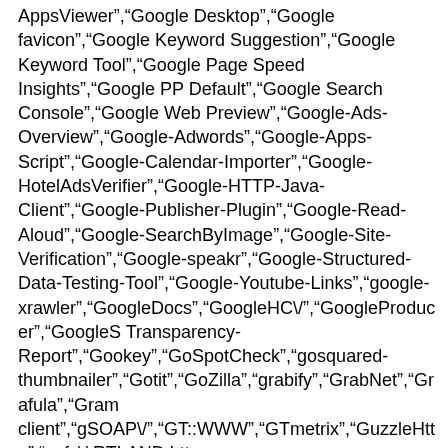AppsViewer","Google Desktop","Google favicon","Google Keyword Suggestion","Google Keyword Tool","Google Page Speed Insights","Google PP Default","Google Search Console","Google Web Preview","Google-Ads-Overview","Google-Adwords","Google-Apps-Script","Google-Calendar-Importer","Google-HotelAdsVerifier","Google-HTTP-Java-Client","Google-Publisher-Plugin","Google-Read-Aloud","Google-SearchByImage","Google-Site-Verification","Google-speakr","Google-Structured-Data-Testing-Tool","Google-Youtube-Links","google-xrawler","GoogleDocs","GoogleHC\/","GoogleProducer","GoogleS Transparency-Report","Gookey","GoSpotCheck","gosquared-thumbnailer","Gotit","GoZilla","grabify","GrabNet","Grafula","Gram client","gSOAP\/","GT::WWW","GTmetrix","GuzzleHttp","gvfs\/ RTLAND http client","Haansoft","hackney\/","Hadi Agent","HappyApps-WebCheck","Hatena","Havij","HaxerMen","HeadlessChrome","HEA Image proxy","Hootsuite-WebFeed","hosterstats","HostTracker","ht:\/\/check","htdig","HTM Banner Detection","HTTP_Compression_Test","http_request2","http_reques get","HTTP-Header-Abfrage","http-kit","http-request\/","HTTP-Tiny","HTTP::Lite","http\.rb\/","http_get","HttpComponents","http ","Humanlinks","i2kconnect\/","Iblog","ichiro","Id-search","IdeelaborPlagiaat","IDG Twitter Links Reader","IIDpodcast","Ifengcrawler","IndySearch","IlTrovatore","I